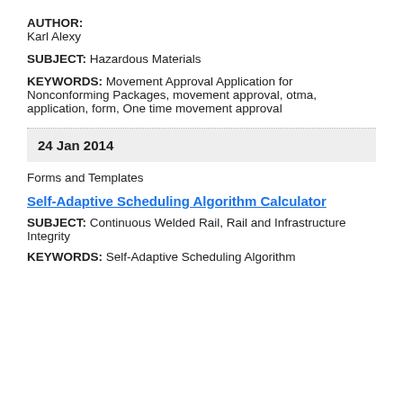AUTHOR: Karl Alexy
SUBJECT: Hazardous Materials
KEYWORDS: Movement Approval Application for Nonconforming Packages, movement approval, otma, application, form, One time movement approval
24 Jan 2014
Forms and Templates
Self-Adaptive Scheduling Algorithm Calculator
SUBJECT: Continuous Welded Rail, Rail and Infrastructure Integrity
KEYWORDS: Self-Adaptive Scheduling Algorithm